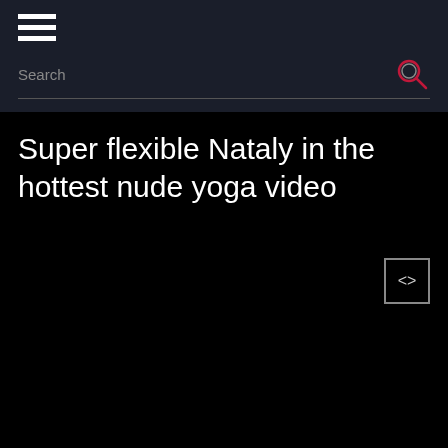[Figure (screenshot): Hamburger menu icon (three white horizontal bars) in dark navigation header]
Search
Super flexible Nataly in the hottest nude yoga video
[Figure (other): Embed/code button: square with angle brackets (<>) icon]